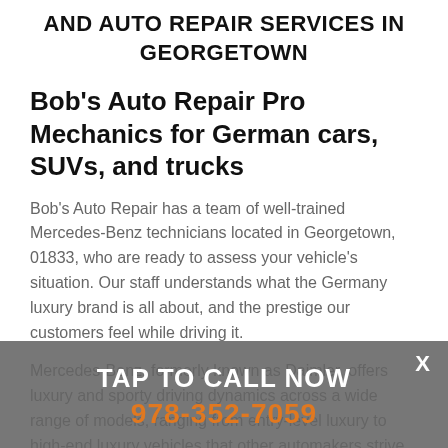AND AUTO REPAIR SERVICES IN GEORGETOWN
Bob's Auto Repair Pro Mechanics for German cars, SUVs, and trucks
Bob's Auto Repair has a team of well-trained Mercedes-Benz technicians located in Georgetown, 01833, who are ready to assess your vehicle's situation. Our staff understands what the Germany luxury brand is all about, and the prestige our customers feel while driving it.
Mercedes-Benz, formerly known as Daimler, offers luxury and sporty driving dynamics across a wide range of models, ranging from entry-level luxury to high-end luxury vehicles that other automakers strive to build. The German automaker is a leader in design and pushes the boundaries of what is considered luxury.
TAP TO CALL NOW
978-352-7059